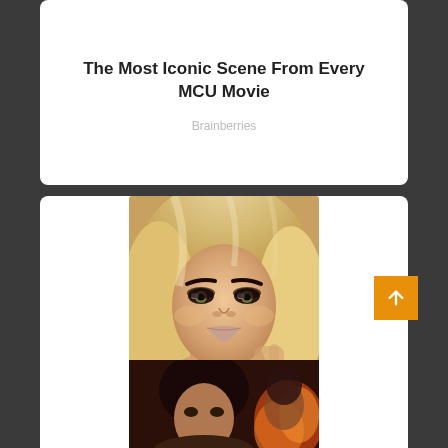The Most Iconic Scene From Every MCU Movie
Brainberries
[Figure (photo): Close-up photo of a blonde woman with heavy makeup]
8 Special Face Procedures To Look Younger Without Plastic Surgery
Herbeauty
[Figure (photo): Partial image of a dark-haired woman at bottom of page]